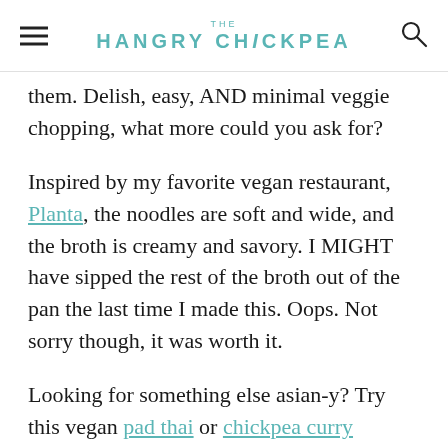THE HANGRY CHiCKPEA
them. Delish, easy, AND minimal veggie chopping, what more could you ask for?
Inspired by my favorite vegan restaurant, Planta, the noodles are soft and wide, and the broth is creamy and savory. I MIGHT have sipped the rest of the broth out of the pan the last time I made this. Oops. Not sorry though, it was worth it.
Looking for something else asian-y? Try this vegan pad thai or chickpea curry